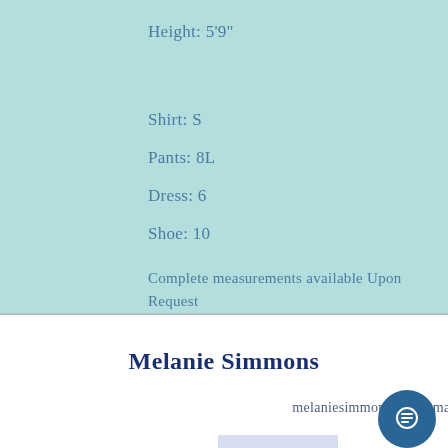Height: 5'9"
Shirt: S
Pants: 8L
Dress: 6
Shoe: 10
Complete measurements available Upon Request
Melanie Simmons
melaniesimmons.act@gmail.com